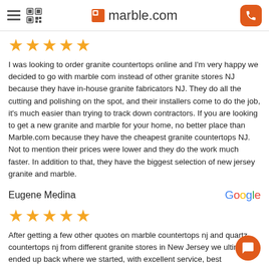marble.com
[Figure (other): Five gold stars rating]
I was looking to order granite countertops online and I'm very happy we decided to go with marble com instead of other granite stores NJ because they have in-house granite fabricators NJ. They do all the cutting and polishing on the spot, and their installers come to do the job, it's much easier than trying to track down contractors. If you are looking to get a new granite and marble for your home, no better place than Marble.com because they have the cheapest granite countertops NJ. Not to mention their prices were lower and they do the work much faster. In addition to that, they have the biggest selection of new jersey granite and marble.
Eugene Medina
[Figure (logo): Google logo]
[Figure (other): Five gold stars rating]
After getting a few other quotes on marble countertops nj and quartz countertops nj from different granite stores in New Jersey we ultimately ended up back where we started, with excellent service, best